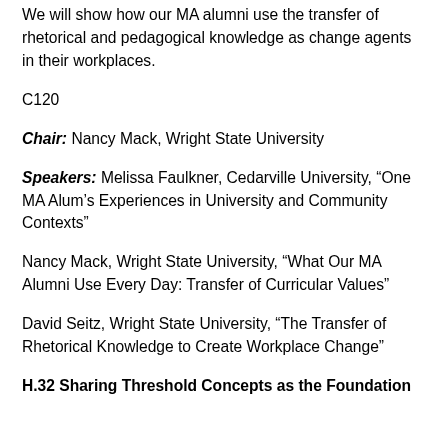We will show how our MA alumni use the transfer of rhetorical and pedagogical knowledge as change agents in their workplaces.
C120
Chair: Nancy Mack, Wright State University
Speakers: Melissa Faulkner, Cedarville University, “One MA Alum’s Experiences in University and Community Contexts”
Nancy Mack, Wright State University, “What Our MA Alumni Use Every Day: Transfer of Curricular Values”
David Seitz, Wright State University, “The Transfer of Rhetorical Knowledge to Create Workplace Change”
H.32 Sharing Threshold Concepts as the Foundation